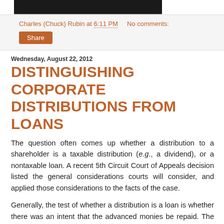[Figure (photo): Top dark image area (partial, cropped)]
Charles (Chuck) Rubin at 6:11 PM    No comments:
Share
Wednesday, August 22, 2012
DISTINGUISHING CORPORATE DISTRIBUTIONS FROM LOANS
The question often comes up whether a distribution to a shareholder is a taxable distribution (e.g., a dividend), or a nontaxable loan. A recent 5th Circuit Court of Appeals decision listed the general considerations courts will consider, and applied those considerations to the facts of the case.
Generally, the test of whether a distribution is a loan is whether there was an intent that the advanced monies be repaid. The following seven objective factors are what courts